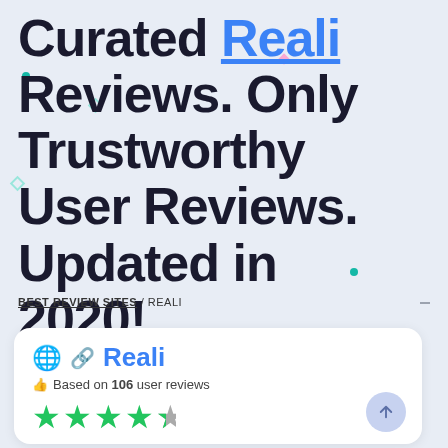Curated Reali Reviews. Only Trustworthy User Reviews. Updated in 2020!
BEST REVIEW SITES / REALI
Reali — Based on 106 user reviews — 4.5 stars